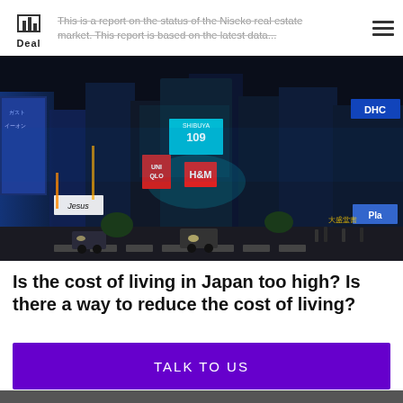This is a report on the status of the Niseko real estate market. This report is based on the latest data...
[Figure (photo): Night-time street scene of a busy Japanese city (Shibuya-style crossing) with neon signs including SHIBUYA 109, UNIQLO, H&M, Jesus signage, DHC, and colorful building advertisements. Cars and pedestrians visible.]
Is the cost of living in Japan too high? Is there a way to reduce the cost of living?
TALK TO US